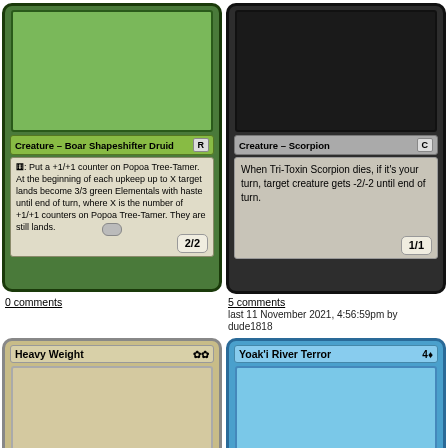[Figure (illustration): Magic: The Gathering card - Creature Boar Shapeshifter Druid, rarity R, power/toughness 2/2, green card with art area. Text: {G}: Put a +1/+1 counter on Popoa Tree-Tamer. At the beginning of each upkeep up to X target lands become 3/3 green Elementals with haste until end of turn, where X is the number of +1/+1 counters on Popoa Tree-Tamer. They are still lands.]
[Figure (illustration): Magic: The Gathering card - Creature Scorpion, rarity C, power/toughness 1/1, dark/black card. Text: When Tri-Toxin Scorpion dies, if it's your turn, target creature gets -2/-2 until end of turn.]
0 comments
5 comments
last 11 November 2021, 4:56:59pm by dude1818
[Figure (illustration): Magic: The Gathering card - Heavy Weight, colorless/white, partially visible card with tan/beige frame and art area.]
[Figure (illustration): Magic: The Gathering card - Yoak'i River Terror, cost 4 blue, partially visible blue card with art area.]